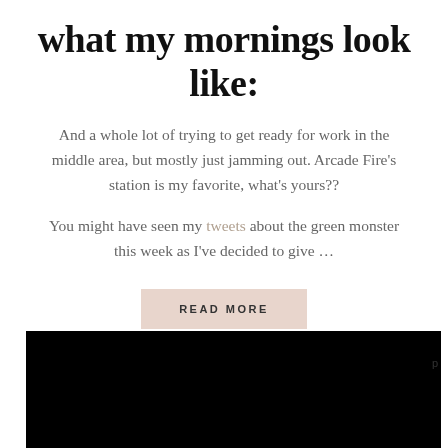what my mornings look like:
And a whole lot of trying to get ready for work in the middle area, but mostly just jamming out. Arcade Fire's station is my favorite, what's yours??
You might have seen my tweets about the green monster this week as I've decided to give …
READ MORE
[Figure (photo): Black image block at the bottom of the page, appears to be a cropped photo with dark background]